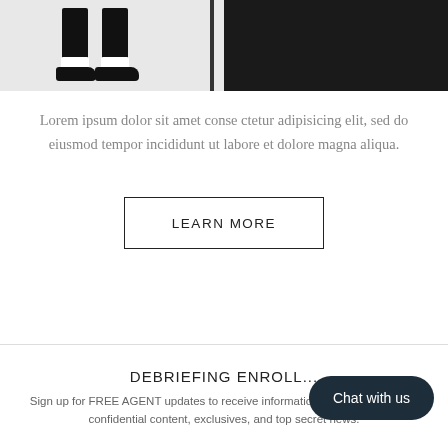[Figure (photo): Split image: left half shows black trouser legs with white socks and black dress shoes on white background; right half shows close-up of dark black jacket with zipper]
Lorem ipsum dolor sit amet conse ctetur adipisicing elit, sed do eiusmod tempor incididunt ut labore et dolore magna aliqua.
LEARN MORE
DEBRIEFING ENROLL...
Sign up for FREE AGENT updates to receive information about new arrivals, confidential content, exclusives, and top secret news.
[Figure (other): Chat with us button — dark navy rounded pill button in bottom right corner]